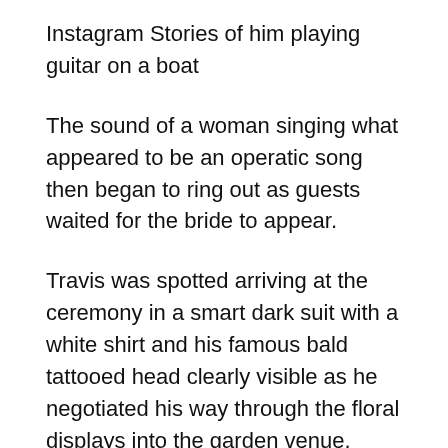Instagram Stories of him playing guitar on a boat
The sound of a woman singing what appeared to be an operatic song then began to ring out as guests waited for the bride to appear.
Travis was spotted arriving at the ceremony in a smart dark suit with a white shirt and his famous bald tattooed head clearly visible as he negotiated his way through the floral displays into the garden venue.
He was closely followed by his son Landon, 18, who appeared to be wearing the same bejewelled Dolce & Gabbana ensemble that he wore earlier